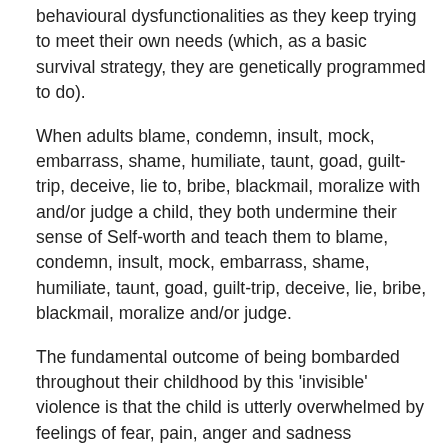behavioural dysfunctionalities as they keep trying to meet their own needs (which, as a basic survival strategy, they are genetically programmed to do).
When adults blame, condemn, insult, mock, embarrass, shame, humiliate, taunt, goad, guilt-trip, deceive, lie to, bribe, blackmail, moralize with and/or judge a child, they both undermine their sense of Self-worth and teach them to blame, condemn, insult, mock, embarrass, shame, humiliate, taunt, goad, guilt-trip, deceive, lie, bribe, blackmail, moralize and/or judge.
The fundamental outcome of being bombarded throughout their childhood by this 'invisible' violence is that the child is utterly overwhelmed by feelings of fear, pain, anger and sadness